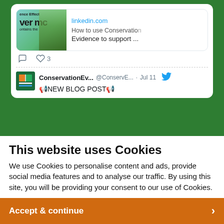[Figure (screenshot): Screenshot of a social media (Twitter) feed showing a tweet with a LinkedIn link preview card for 'How to use Conservation Evidence to support ...' and a second tweet from @ConservE... saying 'NEW BLOG POST' with megaphone emojis, dated Jul 11, on a dark green background.]
This website uses Cookies
We use Cookies to personalise content and ads, provide social media features and to analyse our traffic. By using this site, you will be providing your consent to our use of Cookies.
Accept & continue